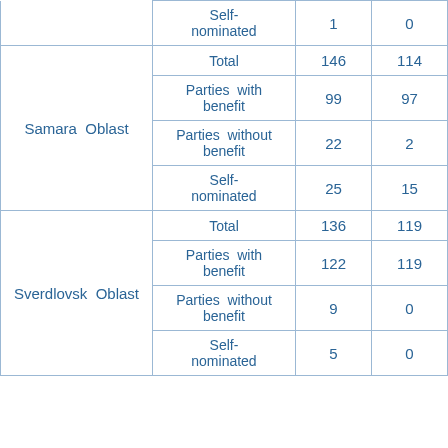| Region | Category | Col3 | Col4 |
| --- | --- | --- | --- |
|  | Self-nominated | 1 | 0 |
| Samara Oblast | Total | 146 | 114 |
| Samara Oblast | Parties with benefit | 99 | 97 |
| Samara Oblast | Parties without benefit | 22 | 2 |
| Samara Oblast | Self-nominated | 25 | 15 |
| Sverdlovsk Oblast | Total | 136 | 119 |
| Sverdlovsk Oblast | Parties with benefit | 122 | 119 |
| Sverdlovsk Oblast | Parties without benefit | 9 | 0 |
| Sverdlovsk Oblast | Self-nominated | 5 | 0 |